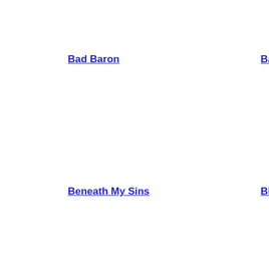Bad Baron
Barnabas Sky
Beneath My Sins
Black Majesty
Boguslaw Balcerak's Crylord
Book Of Numbers
Constancia
Crusade Of Bards